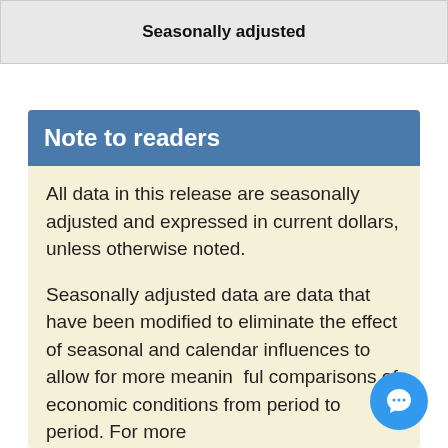| Seasonally adjusted |
| --- |
Note to readers
All data in this release are seasonally adjusted and expressed in current dollars, unless otherwise noted.
Seasonally adjusted data are data that have been modified to eliminate the effect of seasonal and calendar influences to allow for more meaningful comparisons of economic conditions from period to period. For more...